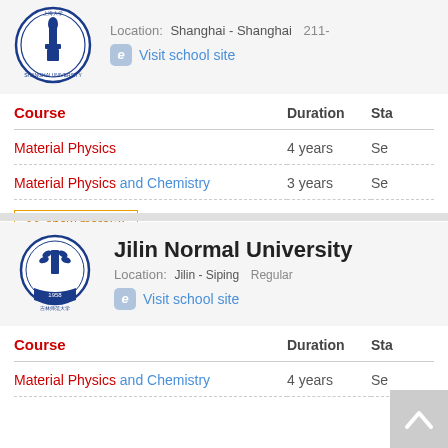[Figure (logo): Shanghai University circular logo with blue torch symbol]
Location: Shanghai - Shanghai  211-
Visit school site
| Course | Duration | Sta |
| --- | --- | --- |
| Material Physics | 4 years | Se |
| Material Physics and Chemistry | 3 years | Se |
>> show more(2)
[Figure (logo): Jilin Normal University circular logo with blue wheat/book symbol]
Jilin Normal University
Location: Jilin - Siping  Regular
Visit school site
| Course | Duration | Sta |
| --- | --- | --- |
| Material Physics and Chemistry | 4 years | Se |